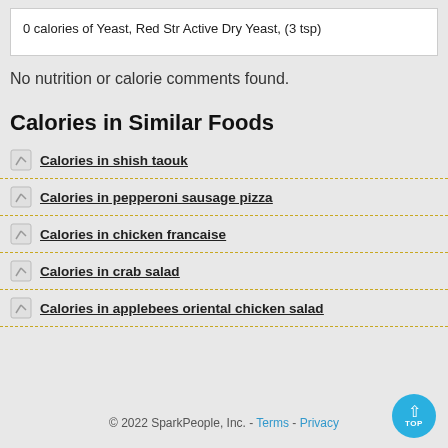0 calories of Yeast, Red Str Active Dry Yeast, (3 tsp)
No nutrition or calorie comments found.
Calories in Similar Foods
Calories in shish taouk
Calories in pepperoni sausage pizza
Calories in chicken francaise
Calories in crab salad
Calories in applebees oriental chicken salad
© 2022 SparkPeople, Inc. - Terms - Privacy